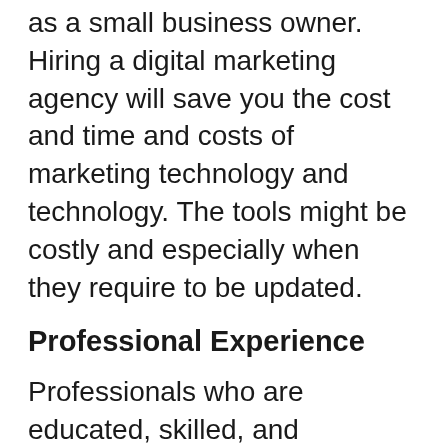as a small business owner. Hiring a digital marketing agency will save you the cost and time and costs of marketing technology and technology. The tools might be costly and especially when they require to be updated.
Professional Experience
Professionals who are educated, skilled, and experienced run digital marketing agencies. Once you hire an agency, you bring their knowledge and experience to your business. As a result, your company proliferates. Your business expands its reach and reaches its maximum potential by hiring digital marketing experts.
In the event that digital marketing...